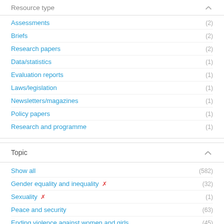Resource type
Assessments (2)
Briefs (2)
Research papers (2)
Data/statistics (1)
Evaluation reports (1)
Laws/legislation (1)
Newsletters/magazines (1)
Policy papers (1)
Research and programme (1)
Topic
Show all (582)
Gender equality and inequality ✕ (32)
Sexuality ✕ (1)
Peace and security (63)
Ending violence against women and girls (45)